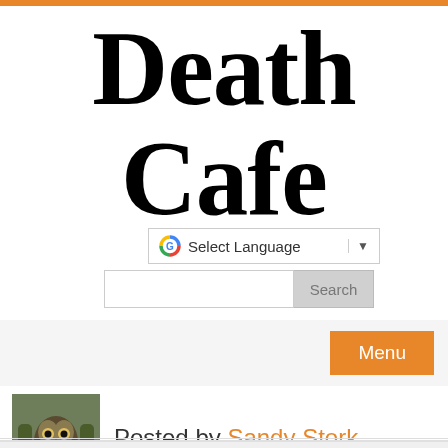Death Cafe
[Figure (screenshot): Google Translate widget with 'Select Language' text and dropdown arrow]
[Figure (screenshot): Search input box with Search button]
[Figure (screenshot): Menu button (orange) in navigation bar]
[Figure (photo): Owl perched on a branch, profile photo of Sandy Stork]
Posted by Sandy Stork
...